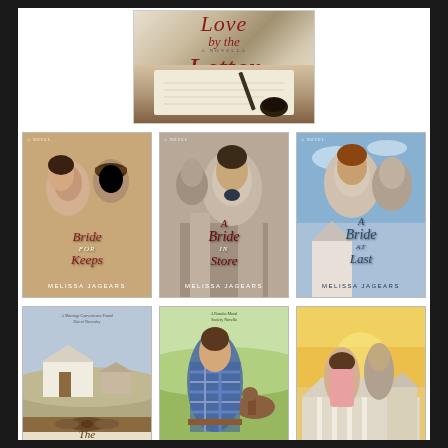[Figure (illustration): Book cover for 'Love by the Letter' - A Novella, by Melissa Jagears. Script-style title text in dark red over an image of a letter/writing scene with an ink pen.]
[Figure (illustration): Book cover for 'Bride for Keeps' by Melissa Jagears - A Novel. Shows a woman and man in historical Western attire.]
[Figure (illustration): Book cover for 'A Bride in Store' by Melissa Jagears - A Novel. Shows a woman and man in historical attire.]
[Figure (illustration): Book cover for 'A Bride at Last' by Melissa Jagears - A Novel. Shows a woman and man in historical attire.]
[Figure (illustration): Book cover for 'The Convenient...' - A Marriage Convenience story. Shows a farmhouse/prairie scene with ribbon.]
[Figure (illustration): Book cover for 'Engaging the...' - A Rancho Moral Society Novella. Shows a woman in blue plaid outdoors with horses.]
[Figure (illustration): Sixth book cover showing a woman and man in historical attire with a plantation/manor house.]